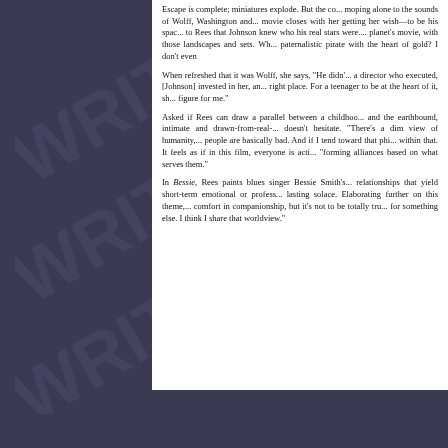Escape is complete; miniatures explode. But the co... moping alone to the sounds of Wolff, Washington and ... movie closes with her getting her wish—to be his spac... to Rees that Johnson knew who his real stars were. ... planet's movie, with those landscapes and sets. Wh... paternalistic pirate with the heart of gold? I don't even
When refreshed that it was Wolff, she says, "He didn'... a director who executed, [Johnson] invested in her, an... right place. For a teenager to be at the heart of it, sh... figure for me."
Asked if Rees can draw a parallel between a childhoo... and the earthbound, intimate and drawn-from-real-... doesn't hesitate. "There's a dim view of humanity, ... people are basically bad. And if I tend toward that phi... within that. It feels as if in this film, everyone is acti... "forming alliances based on what serves them."
In Bessie, Rees paints blues singer Bessie Smith's... relationships that yield short-term emotional or profess... lasting solace. Elaborating further on this theme, ... comfort in companionship, but it's not to be totally tru... for something else. I think I share that worldview."